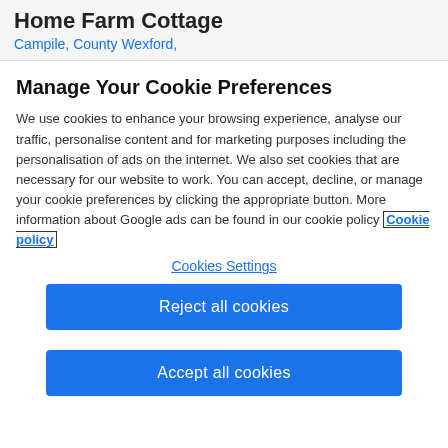Home Farm Cottage
Campile, County Wexford,
Manage Your Cookie Preferences
We use cookies to enhance your browsing experience, analyse our traffic, personalise content and for marketing purposes including the personalisation of ads on the internet. We also set cookies that are necessary for our website to work. You can accept, decline, or manage your cookie preferences by clicking the appropriate button. More information about Google ads can be found in our cookie policy Cookie policy
Cookies Settings
Reject all cookies
Accept all cookies